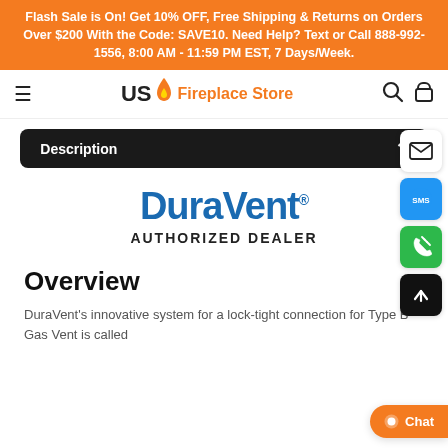Flash Sale is On! Get 10% OFF, Free Shipping & Returns on Orders Over $200 With the Code: SAVE10. Need Help? Text or Call 888-992-1556, 8:00 AM - 11:59 PM EST, 7 Days/Week.
[Figure (logo): US Fireplace Store logo with hamburger menu, search icon, and bag icon in navigation bar]
Description
[Figure (logo): DuraVent Authorized Dealer logo in blue with bold black text]
Overview
DuraVent's innovative system for a lock-tight connection for Type B Gas Vent is called